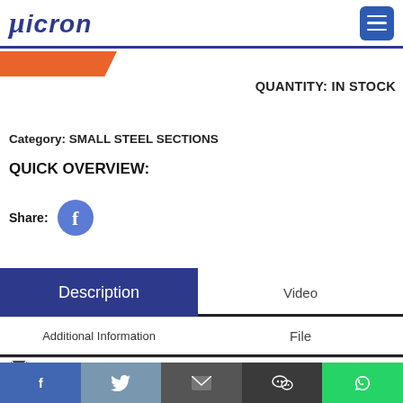μicron — navigation header with hamburger menu
[Figure (other): Orange chevron/badge partially visible at top left below header]
QUANTITY: IN STOCK
Category: SMALL STEEL SECTIONS
QUICK OVERVIEW:
Share:
[Figure (other): Facebook share button icon (blue circle with white F)]
Description | Video | Additional Information | File — tab navigation
Enquiry
Social share bar: Facebook, Twitter, Email, WeChat, WhatsApp